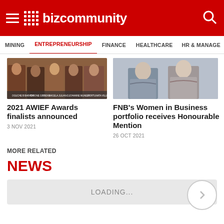BizCommunity
MINING  ENTREPRENEURSHIP  FINANCE  HEALTHCARE  HR & MANAGE
[Figure (photo): Photo collage of 2021 AWIEF Awards finalists — five portrait headshots in a row]
2021 AWIEF Awards finalists announced
3 NOV 2021
[Figure (photo): Photo of two business women in professional attire with arms crossed]
FNB's Women in Business portfolio receives Honourable Mention
26 OCT 2021
MORE RELATED
NEWS
LOADING...